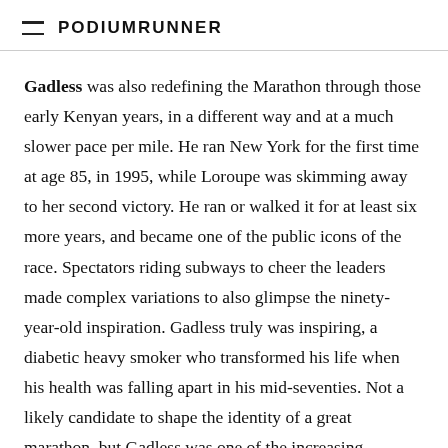PodiumRunner
Gadless was also redefining the Marathon through those early Kenyan years, in a different way and at a much slower pace per mile. He ran New York for the first time at age 85, in 1995, while Loroupe was skimming away to her second victory. He ran or walked it for at least six more years, and became one of the public icons of the race. Spectators riding subways to cheer the leaders made complex variations to also glimpse the ninety-year-old inspiration. Gadless truly was inspiring, a diabetic heavy smoker who transformed his life when his health was falling apart in his mid-seventies. Not a likely candidate to shape the identity of a great marathon, but Gadless was one of the increasing numbers of (much) older runners, led by Corbitt, who proved the event totally inclusive. Though never fast, he does still hold the single-age world record for age 89, at 6:35:38, which isn’t doddering.